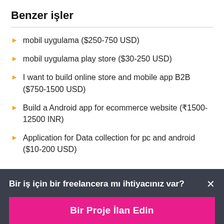Benzer işler
mobil uygulama ($250-750 USD)
mobil uygulama play store ($30-250 USD)
I want to build online store and mobile app B2B ($750-1500 USD)
Build a Android app for ecommerce website (₹1500-12500 INR)
Application for Data collection for pc and android ($10-200 USD)
Bir iş için bir freelancera mı ihtiyacınız var? ×
Bir Proje İlan Edin